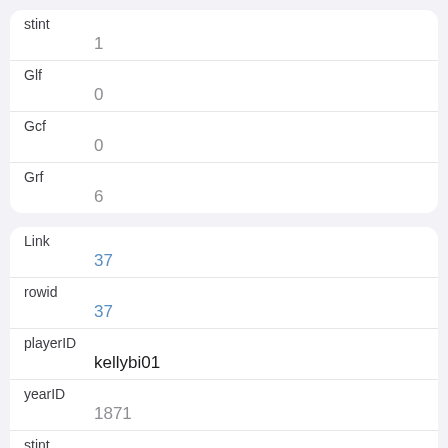| field | value |
| --- | --- |
| stint | 1 |
| Glf | 0 |
| Gcf | 0 |
| Grf | 6 |
| field | value |
| --- | --- |
| Link | 37 |
| rowid | 37 |
| playerID | kellybi01 |
| yearID | 1871 |
| stint | 1 |
| Glf |  |